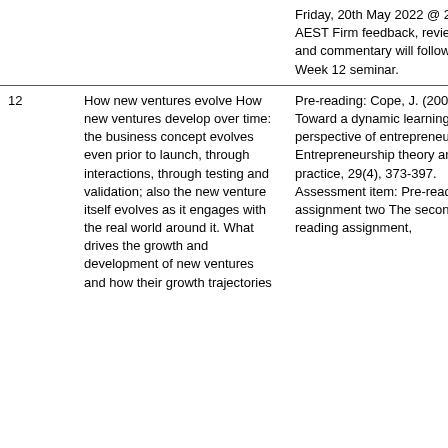| Week | Topic | Resources |
| --- | --- | --- |
|  |  | Friday, 20th May 2022 @ 23:59 AEST Firm feedback, reviews and commentary will follow in the Week 12 seminar. |
| 12 | How new ventures evolve How new ventures develop over time: the business concept evolves even prior to launch, through interactions, through testing and validation; also the new venture itself evolves as it engages with the real world around it. What drives the growth and development of new ventures and how their growth trajectories | Pre-reading: Cope, J. (2005). Toward a dynamic learning perspective of entrepreneurship. Entrepreneurship theory and practice, 29(4), 373-397. Assessment item: Pre-reading assignment two The second pre-reading assignment, |